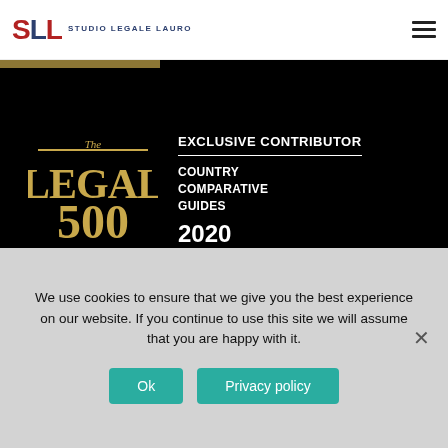[Figure (logo): Studio Legale Lauro logo with SLL monogram in red/navy and firm name text]
[Figure (logo): The Legal 500 Exclusive Contributor Country Comparative Guides 2020 badge on black background]
EXCLUSIVE CONTRIBUTOR
COUNTRY COMPARATIVE GUIDES
2020
CONTRIBUTOR
We use cookies to ensure that we give you the best experience on our website. If you continue to use this site we will assume that you are happy with it.
Ok
Privacy policy